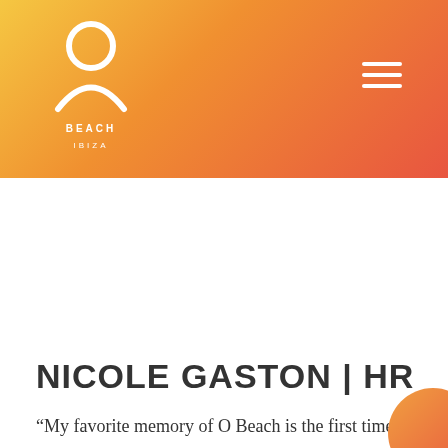[Figure (logo): O Beach Ibiza logo — white circle with O on top, arch/rainbow shape below, text BEACH and IBIZA]
NICOLE GASTON | HR
“My favorite memory of O Beach is the first time I saw